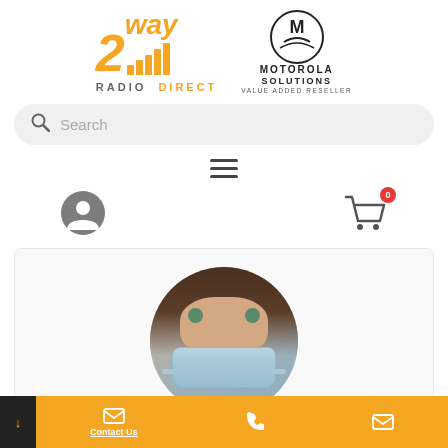[Figure (logo): 2way Radio Direct logo with orange number 2, signal bars, and text RADIO DIRECT; alongside Motorola Solutions Value Added Reseller logo]
[Figure (screenshot): Search bar with magnifying glass icon and placeholder text 'Search']
[Figure (screenshot): Hamburger menu icon (three horizontal lines)]
[Figure (screenshot): User account icon on the left and shopping cart icon with badge showing 0 on the right]
[Figure (photo): Circular cropped photo of a woman with long brown hair wearing a blue surgical face mask]
[Figure (screenshot): Orange footer bar with dark left section containing down arrow, Contact Us email icon with label, phone icon, and another email icon]